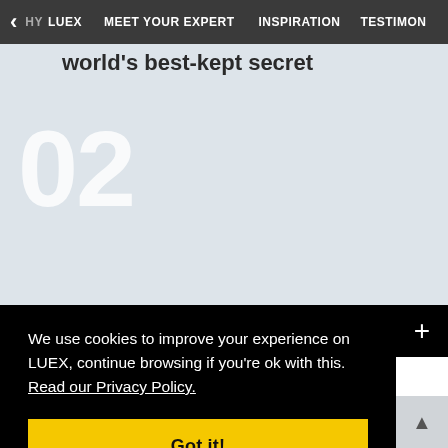< HY LUEX   MEET YOUR EXPERT   INSPIRATION   TESTIMON
world's best-kept secret
02
We use cookies to improve your experience on LUEX, continue browsing if you're ok with this. Read our Privacy Policy.
Got it!